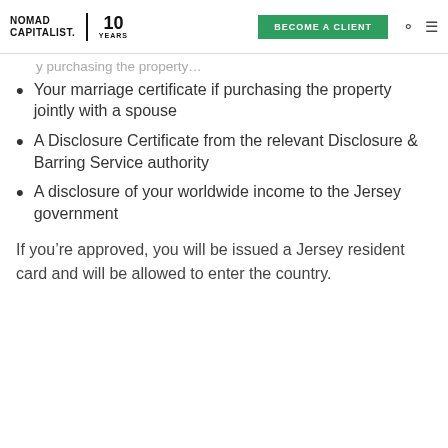NOMAD CAPITALIST. 10 YEARS | BECOME A CLIENT
Your marriage certificate if purchasing the property jointly with a spouse
A Disclosure Certificate from the relevant Disclosure & Barring Service authority
A disclosure of your worldwide income to the Jersey government
If you’re approved, you will be issued a Jersey resident card and will be allowed to enter the country.